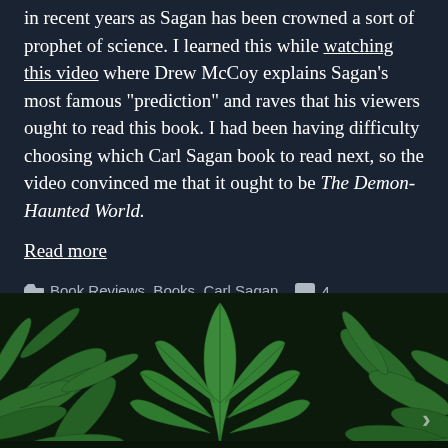in recent years as Sagan has been crowned a sort of prophet of science. I learned this while watching this video where Drew McCoy explains Sagan's most famous "prediction" and raves that his viewers ought to read this book. I had been having difficulty choosing which Carl Sagan book to read next, so the video convinced me that it ought to be The Demon-Haunted World.
Read more
Book Reviews, Books, Carl Sagan   4 Comments
[Figure (photo): Close-up photograph of green cannabis/marijuana plant leaves against a dark background]